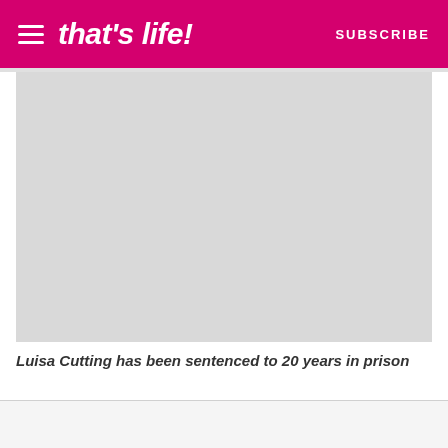that's life! SUBSCRIBE
[Figure (photo): A placeholder grey image area representing a photo of Luisa Cutting]
Luisa Cutting has been sentenced to 20 years in prison